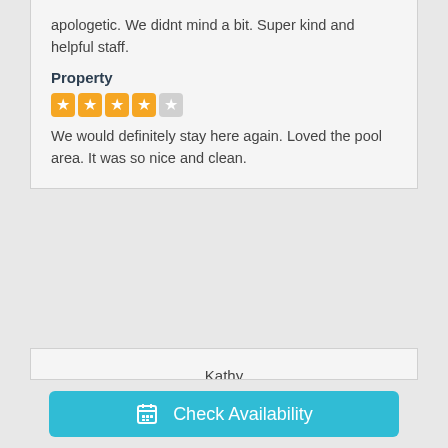apologetic. We didnt mind a bit. Super kind and helpful staff.
Property
[Figure (other): 4 out of 5 star rating shown as orange filled squares]
We would definitely stay here again. Loved the pool area. It was so nice and clean.
Kathy
Murfreesboro, US
Reviewed: Mar 18, 2021
Property Manager
[Figure (other): 4 out of 5 star rating shown as orange filled squares]
Property
[Figure (other): 5 out of 5 star rating shown as orange filled squares]
Check Availability